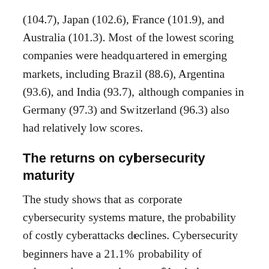(104.7), Japan (102.6), France (101.9), and Australia (101.3). Most of the lowest scoring companies were headquartered in emerging markets, including Brazil (88.6), Argentina (93.6), and India (93.7), although companies in Germany (97.3) and Switzerland (96.3) also had relatively low scores.
The returns on cybersecurity maturity
The study shows that as corporate cybersecurity systems mature, the probability of costly cyberattacks declines. Cybersecurity beginners have a 21.1% probability of cyberattacks generating over $1m in losses vs 16.1% for intermediates, and 1[Select Language ▾]sts of cyberattacks also d[                    ]matures: the costs for